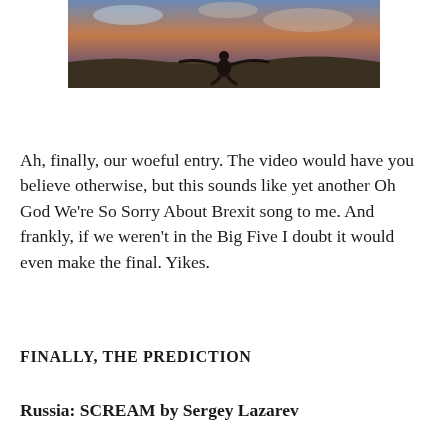[Figure (photo): A person sitting outdoors on a hillside with arms outstretched, dramatic sunset sky in background]
Ah, finally, our woeful entry. The video would have you believe otherwise, but this sounds like yet another Oh God We're So Sorry About Brexit song to me. And frankly, if we weren't in the Big Five I doubt it would even make the final. Yikes.
FINALLY, THE PREDICTION
Russia: SCREAM by Sergey Lazarev